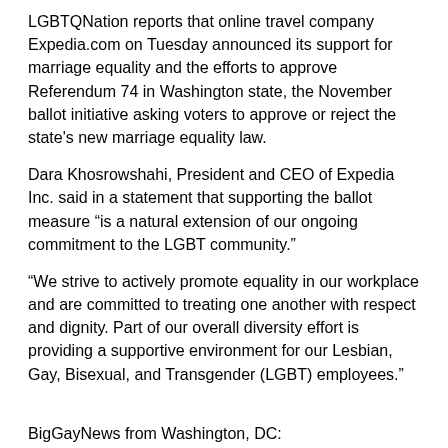LGBTQNation reports that online travel company Expedia.com on Tuesday announced its support for marriage equality and the efforts to approve Referendum 74 in Washington state, the November ballot initiative asking voters to approve or reject the state's new marriage equality law.
Dara Khosrowshahi, President and CEO of Expedia Inc. said in a statement that supporting the ballot measure “is a natural extension of our ongoing commitment to the LGBT community.”
“We strive to actively promote equality in our workplace and are committed to treating one another with respect and dignity. Part of our overall diversity effort is providing a supportive environment for our Lesbian, Gay, Bisexual, and Transgender (LGBT) employees.”
BigGayNews from Washington, DC:
At Democratic Convention, A Record Presence For Gays
PJStar.com reports that the Democratic National Convention is a watershed event for America’s gay rights movement, which never before has been embraced so warmly by a major political party.